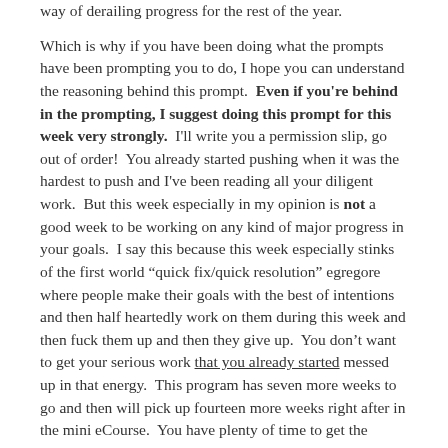way of derailing progress for the rest of the year.
Which is why if you have been doing what the prompts have been prompting you to do, I hope you can understand the reasoning behind this prompt.  Even if you're behind in the prompting, I suggest doing this prompt for this week very strongly.  I'll write you a permission slip, go out of order!  You already started pushing when it was the hardest to push and I've been reading all your diligent work.  But this week especially in my opinion is not a good week to be working on any kind of major progress in your goals.  I say this because this week especially stinks of the first world "quick fix/quick resolution" egregore where people make their goals with the best of intentions and then half heartedly work on them during this week and then fuck them up and then they give up.  You don't want to get your serious work that you already started messed up in that energy.  This program has seven more weeks to go and then will pick up fourteen more weeks right after in the mini eCourse.  You have plenty of time to get the things you want to do done, I promise.  I'm going to be pushing you like whoa again starting next week.
Your mission for this week is a simple one but for many may be